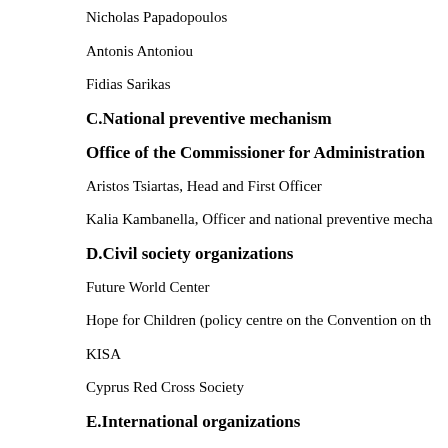Nicholas Papadopoulos
Antonis Antoniou
Fidias Sarikas
C.National preventive mechanism
Office of the Commissioner for Administration
Aristos Tsiartas, Head and First Officer
Kalia Kambanella, Officer and national preventive mecha
D.Civil society organizations
Future World Center
Hope for Children (policy centre on the Convention on th
KISA
Cyprus Red Cross Society
E.International organizations